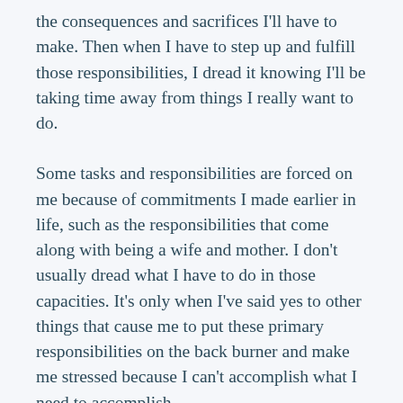the consequences and sacrifices I'll have to make. Then when I have to step up and fulfill those responsibilities, I dread it knowing I'll be taking time away from things I really want to do.
Some tasks and responsibilities are forced on me because of commitments I made earlier in life, such as the responsibilities that come along with being a wife and mother. I don't usually dread what I have to do in those capacities. It's only when I've said yes to other things that cause me to put these primary responsibilities on the back burner and make me stressed because I can't accomplish what I need to accomplish.